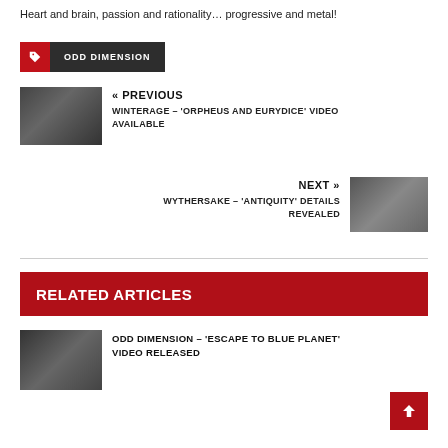Heart and brain, passion and rationality… progressive and metal!
ODD DIMENSION
« PREVIOUS
WINTERAGE – 'ORPHEUS AND EURYDICE' VIDEO AVAILABLE
NEXT »
WYTHERSAKE – 'ANTIQUITY' DETAILS REVEALED
RELATED ARTICLES
ODD DIMENSION – 'ESCAPE TO BLUE PLANET' VIDEO RELEASED